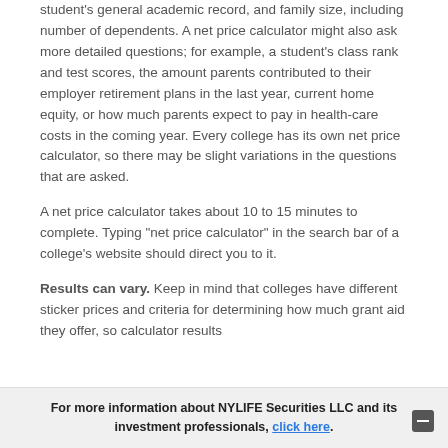student's general academic record, and family size, including number of dependents. A net price calculator might also ask more detailed questions; for example, a student's class rank and test scores, the amount parents contributed to their employer retirement plans in the last year, current home equity, or how much parents expect to pay in health-care costs in the coming year. Every college has its own net price calculator, so there may be slight variations in the questions that are asked.
A net price calculator takes about 10 to 15 minutes to complete. Typing "net price calculator" in the search bar of a college's website should direct you to it.
Results can vary. Keep in mind that colleges have different sticker prices and criteria for determining how much grant aid they offer, so calculator results…
For more information about NYLIFE Securities LLC and its investment professionals, click here.